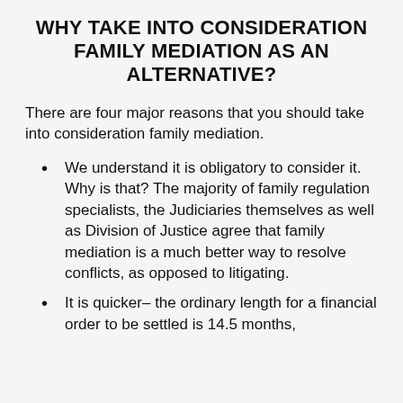WHY TAKE INTO CONSIDERATION FAMILY MEDIATION AS AN ALTERNATIVE?
There are four major reasons that you should take into consideration family mediation.
We understand it is obligatory to consider it. Why is that? The majority of family regulation specialists, the Judiciaries themselves as well as Division of Justice agree that family mediation is a much better way to resolve conflicts, as opposed to litigating.
It is quicker– the ordinary length for a financial order to be settled is 14.5 months,